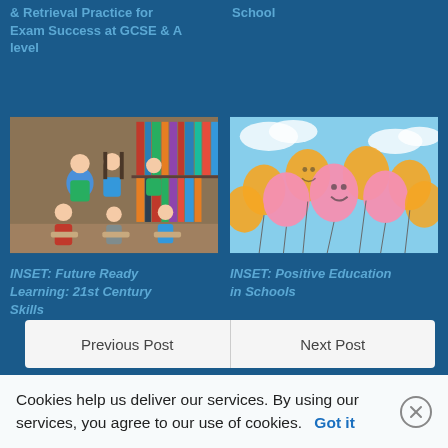& Retrieval Practice for Exam Success at GCSE & A level
School
[Figure (photo): Group of students and teacher sitting in a circle in a library, engaged in a discussion or reading activity]
[Figure (photo): Collection of pink and orange smiley face balloons against a blue sky]
INSET: Future Ready Learning: 21st Century Skills
INSET: Positive Education in Schools
Previous Post
Next Post
Cookies help us deliver our services. By using our services, you agree to our use of cookies.
Got it